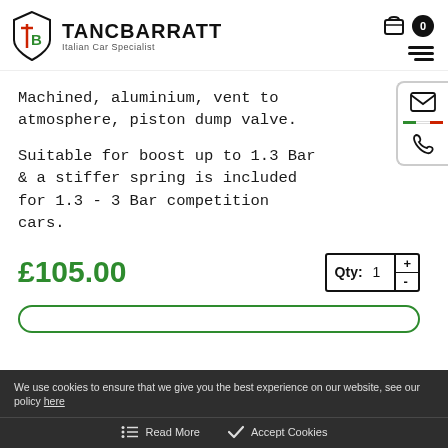[Figure (logo): Tancbarratt Italian Car Specialist logo with shield and TB monogram]
Machined, aluminium, vent to atmosphere, piston dump valve.
Suitable for boost up to 1.3 Bar & a stiffer spring is included for 1.3 - 3 Bar competition cars.
£105.00
Qty: 1
We use cookies to ensure that we give you the best experience on our website, see our policy here
Read More
Accept Cookies